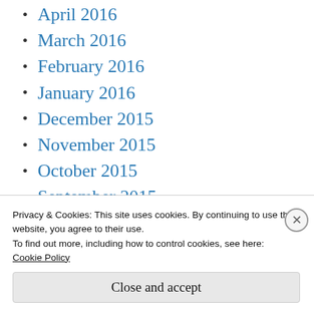April 2016
March 2016
February 2016
January 2016
December 2015
November 2015
October 2015
September 2015
August 2015
July 2015
June 2015
Privacy & Cookies: This site uses cookies. By continuing to use this website, you agree to their use.
To find out more, including how to control cookies, see here: Cookie Policy
Close and accept